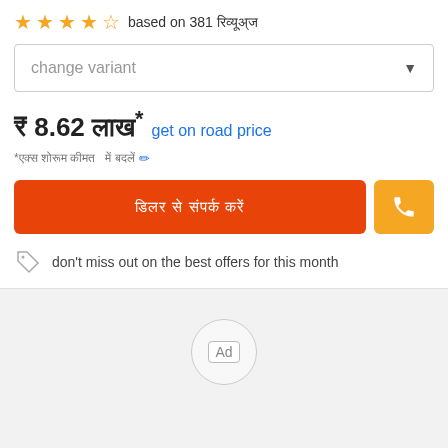★★★★☆ based on 381 [reviews]
change variant
₹ 8.62 [lakh]* get on road price
*[ex-showroom price] [location] ✏
[Contact Dealer button] [Phone button]
don't miss out on the best offers for this month
[Figure (other): Ad placeholder circle]
punch creative ira [variant name]